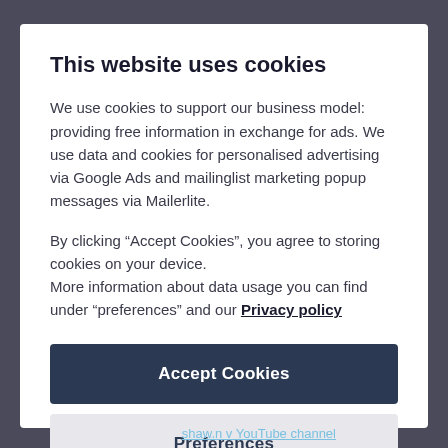This website uses cookies
We use cookies to support our business model: providing free information in exchange for ads. We use data and cookies for personalised advertising via Google Ads and mailinglist marketing popup messages via Mailerlite.
By clicking “Accept Cookies”, you agree to storing cookies on your device.
More information about data usage you can find under "preferences" and our Privacy policy
Accept Cookies
Preferences
shaw.n v YouTube channel